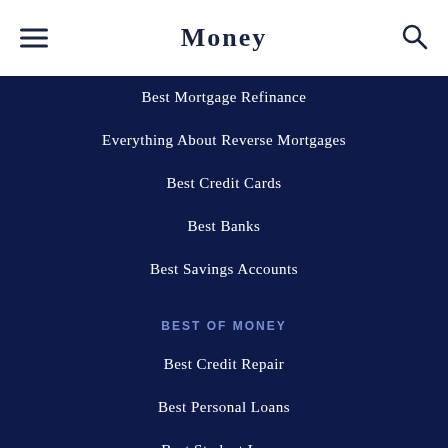Money
Best Mortgage Refinance
Everything About Reverse Mortgages
Best Credit Cards
Best Banks
Best Savings Accounts
BEST OF MONEY
Best Credit Repair
Best Personal Loans
Best Student Loans
Best Student Loan Refinance